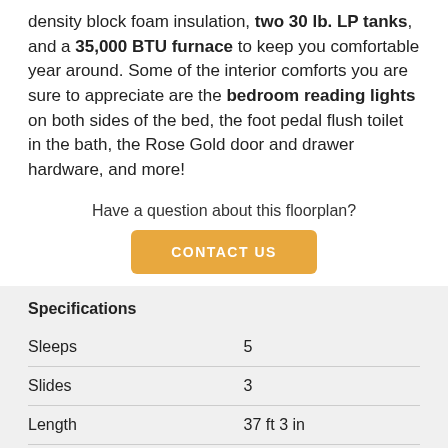density block foam insulation, two 30 lb. LP tanks, and a 35,000 BTU furnace to keep you comfortable year around. Some of the interior comforts you are sure to appreciate are the bedroom reading lights on both sides of the bed, the foot pedal flush toilet in the bath, the Rose Gold door and drawer hardware, and more!
Have a question about this floorplan?
CONTACT US
Specifications
|  |  |
| --- | --- |
| Sleeps | 5 |
| Slides | 3 |
| Length | 37 ft 3 in |
| Ext Width | 8 ft |